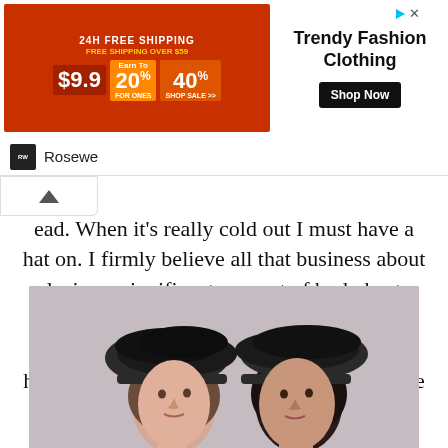[Figure (infographic): Advertisement banner for Rosewe Trendy Fashion Clothing with discount offer 9.9, 20% off, 40% off and Shop Now button]
ead. When it's really cold out I must have a hat on. I firmly believe all that business about losing a significant amount of body heat through the head.  The problem is my hat game has become stale. I'm not a statement hat kind of person, but the cashmere caps I've been wearing suddenly feel tired. A beret seems like the logical answer.
[Figure (photo): Two models wearing black leather berets, facing slightly toward each other]